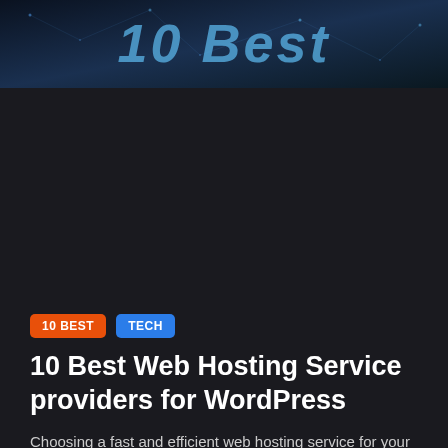[Figure (photo): Dark blue network/tech hero banner image with text '10 Best' overlaid in large stylized blue font]
10 BEST
TECH
10 Best Web Hosting Service providers for WordPress
Choosing a fast and efficient web hosting service for your new WordPress website is very important. In fact, it's one of the most important decisions you'll make when setting up your social media